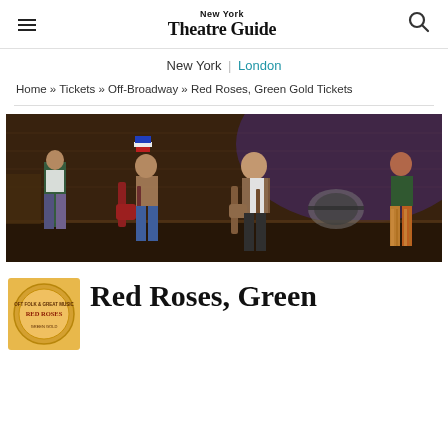New York Theatre Guide
New York | London
Home » Tickets » Off-Broadway » Red Roses, Green Gold Tickets
[Figure (photo): Stage performance photo showing four performers on a rustic wooden stage set, two playing electric guitars, one in a patriotic hat and vest, one in plaid pants, one in a vest, and one on the right side in striped pants, with a drum kit visible in the background and purple lighting.]
[Figure (photo): Thumbnail logo/poster image for Red Roses, Green Gold show with yellow/gold circular badge design]
Red Roses, Green